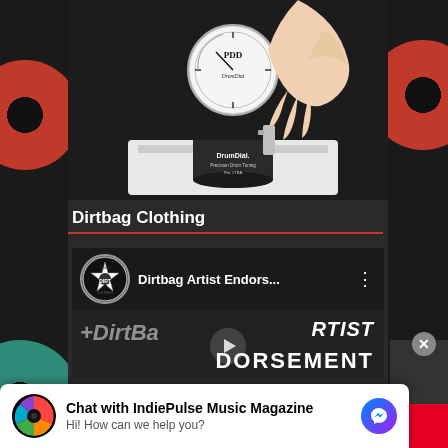[Figure (photo): Hand adjusting a DrumDial drum tuner gauge on a drum, showing the circular dial face with PDD DrumDial branding and the cylindrical body labeled DrumDial with Precision Drum Tuning.]
Dirtbag Clothing
[Figure (screenshot): YouTube video thumbnail for 'Dirtbag Artist Endors...' showing Dirtbag clothing channel logo (star badge), video title, three-dot menu, and a dark background showing 'ARTIST DORSEMENT' text with a play button overlay.]
Chat with IndiePulse Music Magazine
Hi! How can we help you?
LIP'S GOODBYE
macys